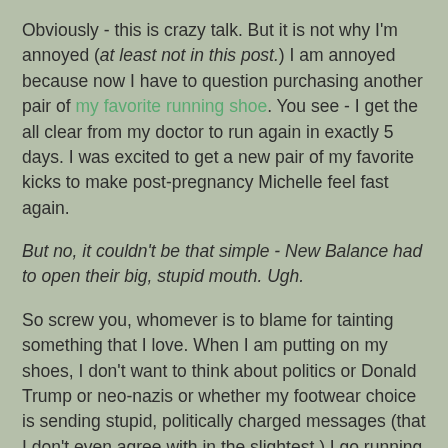Obviously - this is crazy talk. But it is not why I'm annoyed (at least not in this post.) I am annoyed because now I have to question purchasing another pair of my favorite running shoe. You see - I get the all clear from my doctor to run again in exactly 5 days. I was excited to get a new pair of my favorite kicks to make post-pregnancy Michelle feel fast again.
But no, it couldn't be that simple - New Balance had to open their big, stupid mouth. Ugh.
So screw you, whomever is to blame for tainting something that I love. When I am putting on my shoes, I don't want to think about politics or Donald Trump or neo-nazis or whether my footwear choice is sending stupid, politically charged messages (that I don't even agree with in the slightest.) I go running to forget all of that garbage.
But for real, can I just buy the shoes I like without second-guessing myself and feeling guilty? Is that ok with everyone?